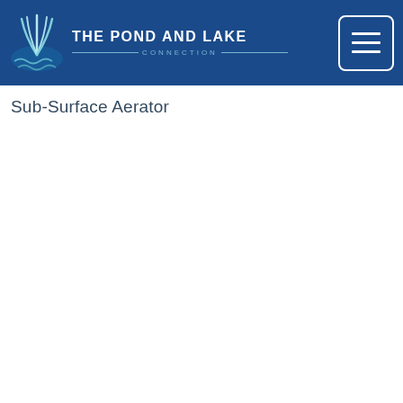The Pond and Lake Connection
Sub-Surface Aerator